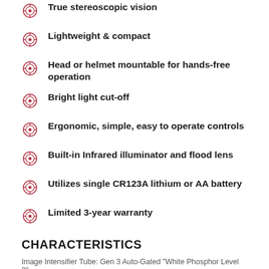True stereoscopic vision
Lightweight & compact
Head or helmet mountable for hands-free operation
Bright light cut-off
Ergonomic, simple, easy to operate controls
Built-in Infrared illuminator and flood lens
Utilizes single CR123A lithium or AA battery
Limited 3-year warranty
CHARACTERISTICS
Image Intensifier Tube: Gen 3 Auto-Gated "White Phosphor Level 2"